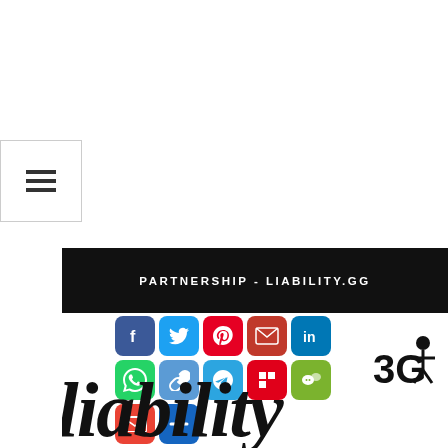[Figure (screenshot): Hamburger menu button (three horizontal lines) inside a white box with border, positioned at top-left]
[Figure (screenshot): Black banner bar with text PARTNERSHIP - LIABILITY.GG overlaid by social media sharing icons grid (Facebook, Twitter, Pinterest, Email, LinkedIn, WhatsApp, Copy Link, Telegram, Flipboard, WeChat, Gmail, More) and a cursive/script brand wordmark 'liability' in the lower portion]